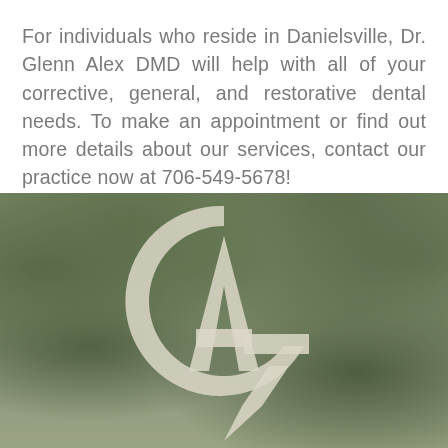For individuals who reside in Danielsville, Dr. Glenn Alex DMD will help with all of your corrective, general, and restorative dental needs. To make an appointment or find out more details about our services, contact our practice now at 706-549-5678!
[Figure (logo): Forest background with a large circular monogram logo featuring the letters G and A intertwined inside a circle, in white/cream color, for Glenn Alex DMD dental practice.]